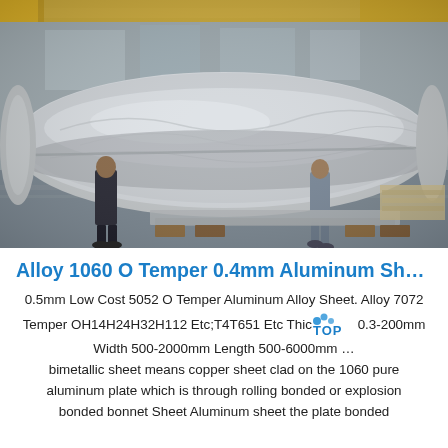[Figure (photo): Industrial factory interior showing two workers handling a large aluminum roll wrapped in protective plastic film. Yellow overhead crane visible in background. Factory floor with various aluminum sheets and materials.]
Alloy 1060 O Temper 0.4mm Aluminum Sh…
0.5mm Low Cost 5052 O Temper Aluminum Alloy Sheet. Alloy 7072 Temper OH14H24H32H112 Etc;T4T651 Etc Thickness 0.3-200mm Width 500-2000mm Length 500-6000mm … bimetallic sheet means copper sheet clad on the 1060 pure aluminum plate which is through rolling bonded or explosion bonded bonnet Sheet Aluminum sheet the plate bonded